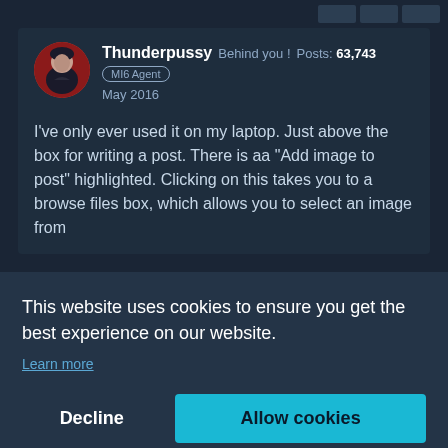[Figure (screenshot): Forum post screenshot showing user 'Thunderpussy' with avatar, badge 'MI6 Agent', date May 2016, post count 63,743, and partial forum post text. A cookie consent overlay dialog is displayed over the lower portion with 'Decline' and 'Allow cookies' buttons.]